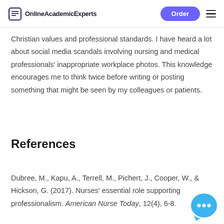OnlineAcademicExperts
Christian values and professional standards. I have heard a lot about social media scandals involving nursing and medical professionals' inappropriate workplace photos. This knowledge encourages me to think twice before writing or posting something that might be seen by my colleagues or patients.
References
Dubree, M., Kapu, A., Terrell, M., Pichert, J., Cooper, W., & Hickson, G. (2017). Nurses' essential role supporting professionalism. American Nurse Today, 12(4), 6-8.